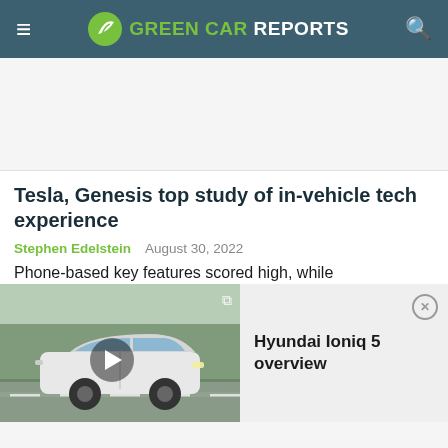GREEN CAR REPORTS
Tesla, Genesis top study of in-vehicle tech experience
Stephen Edelstein   August 30, 2022
Phone-based key features scored high, while
[Figure (screenshot): Hyundai Ioniq 5 driving on road, video thumbnail with play button]
Hyundai Ioniq 5 overview